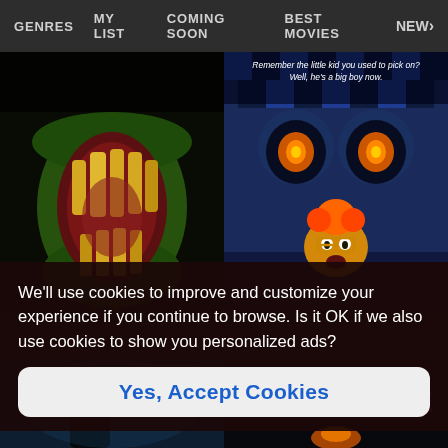GENRES  MY LIST  COMING SOON  BEST MOVIES  NEW>
[Figure (screenshot): Dark horror movie thumbnail on left showing a large green monster mouth with yellow teeth on black background]
[Figure (screenshot): Sci-fi/horror movie thumbnail on right with blue checkerboard background, glowing eyes, and cartoon character with fire hair. Text reads: 'Remember the little kid you used to pick on? Well, he's a big boy now.']
We'll use cookies to improve and customize your experience if you continue to browse. Is it OK if we also use cookies to show you personalized ads?
Yes, Accept Cookies
[Figure (screenshot): Dark horror movie thumbnail bottom left showing a silhouetted figure in a blue-lit doorway]
[Figure (screenshot): Horror movie thumbnail bottom right showing NIGHTMARE title text in purple with character below]